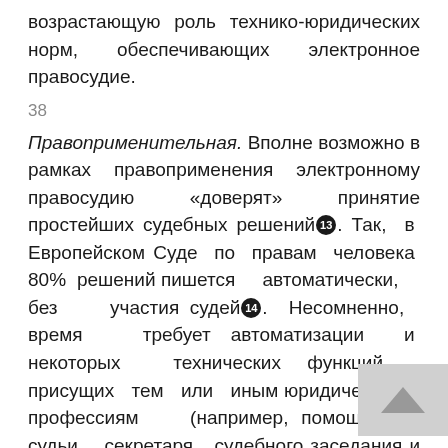возрастающую роль технико-юридических норм, обеспечивающих электронное правосудие.
38
Правоприменительная. Вполне возможно в рамках правоприменения электронному правосудию «доверят» принятие простейших судебных решений[13]. Так, в Европейском Суде по правам человека 80% решений пишется автоматически, без участия судей[14]. Несомненно, время требует автоматизации и некоторых технических функций, присущих тем или иным юридическим профессиям (например, помощника судьи, секретаря судебного заседания и других).
39